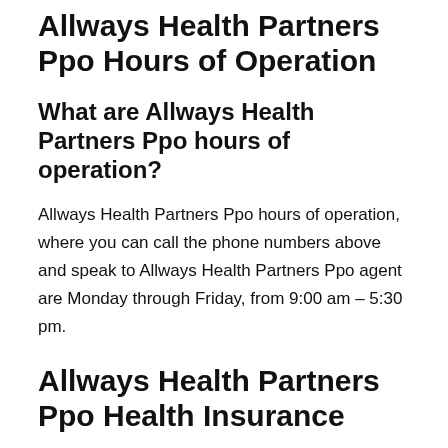Allways Health Partners Ppo Hours of Operation
What are Allways Health Partners Ppo hours of operation?
Allways Health Partners Ppo hours of operation, where you can call the phone numbers above and speak to Allways Health Partners Ppo agent are Monday through Friday, from 9:00 am – 5:30 pm.
Allways Health Partners Ppo Health Insurance